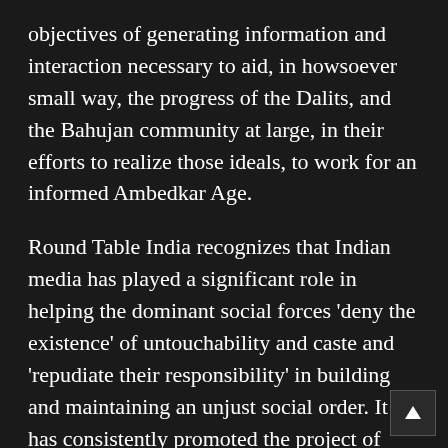objectives of generating information and interaction necessary to aid, in howsoever small way, the progress of the Dalits, and the Bahujan community at large, in their efforts to realize those ideals, to work for an informed Ambedkar Age.
Round Table India recognizes that Indian media has played a significant role in helping the dominant social forces ‘deny the existence’ of untouchability and caste and ‘repudiate their responsibility’ in building and maintaining an unjust social order. It has consistently promoted the project of twisting the ‘Hindu problem’, as Dr. Ambedkar had once observ into the ‘Dalit problem’. Both the mainstrear